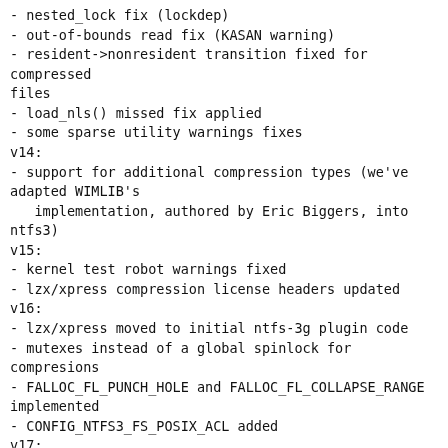- nested_lock fix (lockdep)
- out-of-bounds read fix (KASAN warning)
- resident->nonresident transition fixed for compressed files
- load_nls() missed fix applied
- some sparse utility warnings fixes
v14:
- support for additional compression types (we've adapted WIMLIB's
   implementation, authored by Eric Biggers, into ntfs3)
v15:
- kernel test robot warnings fixed
- lzx/xpress compression license headers updated
v16:
- lzx/xpress moved to initial ntfs-3g plugin code
- mutexes instead of a global spinlock for compresions
- FALLOC_FL_PUNCH_HOLE and FALLOC_FL_COLLAPSE_RANGE implemented
- CONFIG_NTFS3_FS_POSIX_ACL added
v17:
- FALLOC_FL_COLLAPSE_RANGE fixed
- fixes for Mattew Wilcox's and Andy Lavr's concerns
v18:
- ntfs_alloc macro splitted into two ntfs_malloc +
ntfs_zalloc